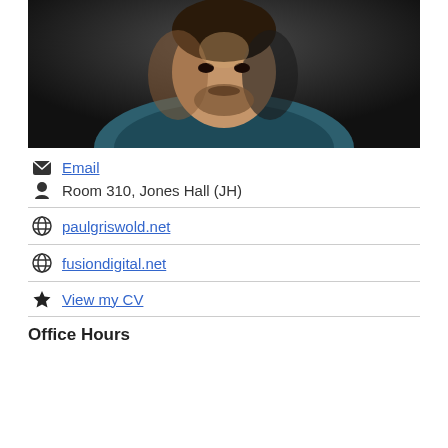[Figure (photo): Portrait photo of a man with a beard wearing a teal/dark blue shirt, photographed in low-key dramatic lighting against a dark background.]
Email
Room 310, Jones Hall (JH)
paulgriswold.net
fusiondigital.net
View my CV
Office Hours